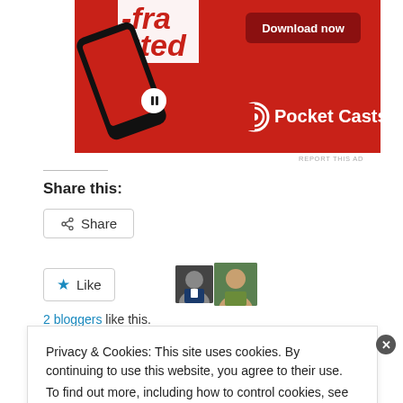[Figure (illustration): Advertisement for Pocket Casts app showing a smartphone on a red background with 'Download now' button and Pocket Casts logo]
REPORT THIS AD
Share this:
Share
Like
2 bloggers like this.
Privacy & Cookies: This site uses cookies. By continuing to use this website, you agree to their use.
To find out more, including how to control cookies, see here: Cookie Policy
Close and accept